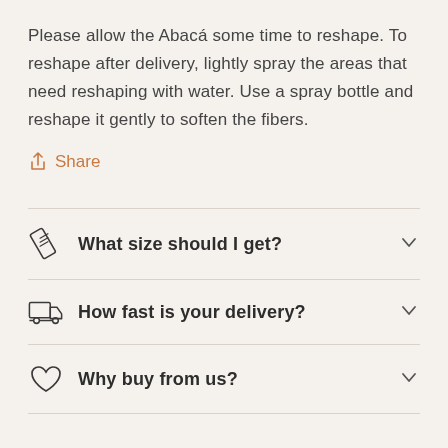Please allow the Abacá some time to reshape. To reshape after delivery, lightly spray the areas that need reshaping with water. Use a spray bottle and reshape it gently to soften the fibers.
Share
What size should I get?
How fast is your delivery?
Why buy from us?